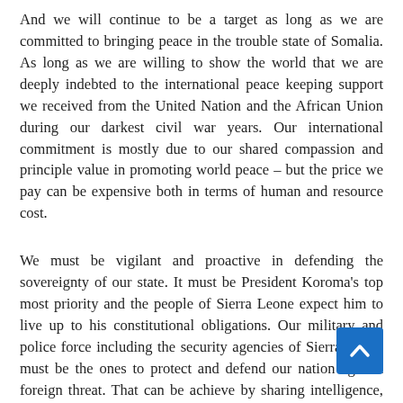And we will continue to be a target as long as we are committed to bringing peace in the trouble state of Somalia. As long as we are willing to show the world that we are deeply indebted to the international peace keeping support we received from the United Nation and the African Union during our darkest civil war years. Our international commitment is mostly due to our shared compassion and principle value in promoting world peace – but the price we pay can be expensive both in terms of human and resource cost.
We must be vigilant and proactive in defending the sovereignty of our state. It must be President Koroma's top most priority and the people of Sierra Leone expect him to live up to his constitutional obligations. Our military and police force including the security agencies of Sierra Leone must be the ones to protect and defend our nation against foreign threat. That can be achieve by sharing intelligence, having the resources and discipline to carryout rescue missions and stopping would-be terrorists from executing their infamous agendas.